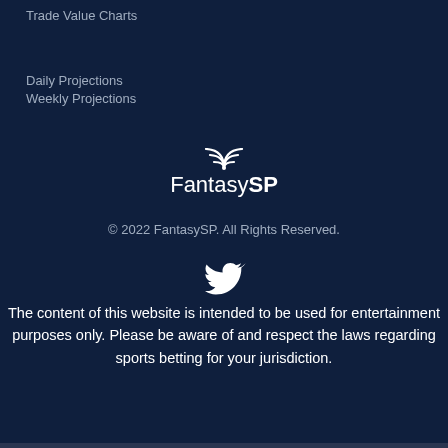Trade Value Charts
Daily Projections
Weekly Projections
[Figure (logo): FantasySP logo with wifi/signal icon above the text, reading 'FantasySP']
© 2022 FantasySP. All Rights Reserved.
[Figure (illustration): Twitter bird icon in white]
The content of this website is intended to be used for entertainment purposes only. Please be aware of and respect the laws regarding sports betting for your jurisdiction.